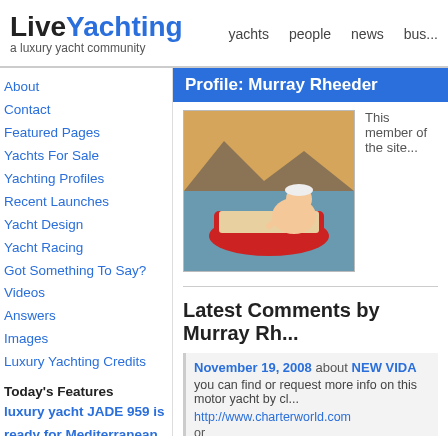LiveYachting — a luxury yacht community | yachts | people | news | bus...
About
Contact
Featured Pages
Yachts For Sale
Yachting Profiles
Recent Launches
Yacht Design
Yacht Racing
Got Something To Say?
Videos
Answers
Images
Luxury Yachting Credits
Today's Features
luxury yacht JADE 959 is ready for Mediterranean charter
Popular Subjects
Profile: Murray Rheeder
[Figure (photo): Photo of a large man in a white cap sitting in a small red boat on water with mountains in background]
This member of the site...
Latest Comments by Murray Rh...
November 19, 2008 about NEW VIDA
you can find or request more info on this motor yacht by cl...
http://www.charterworld.com
or
http://www.boatworld.com